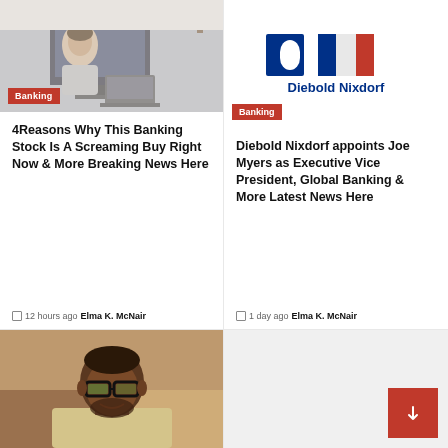[Figure (photo): Woman working at a computer/monitor at a desk, office setting]
Banking
[Figure (logo): Diebold Nixdorf logo - blue and red geometric shapes with company name]
Banking
4Reasons Why This Banking Stock Is A Screaming Buy Right Now & More Breaking News Here
12 hours ago  Elma K. McNair
Diebold Nixdorf appoints Joe Myers as Executive Vice President, Global Banking & More Latest News Here
1 day ago  Elma K. McNair
[Figure (photo): Portrait of a man with glasses, beard, wearing a light-colored shirt]
[Figure (other): Red button with arrow icon, bottom-right of page]